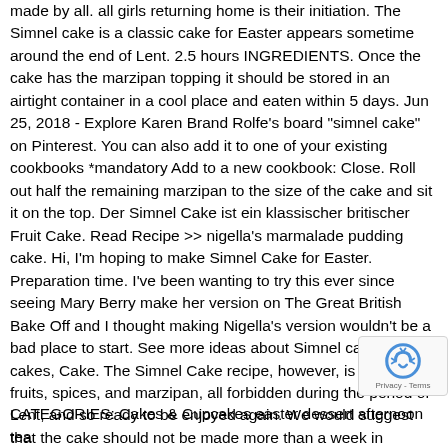made by all. all girls returning home is their initiation. The Simnel cake is a classic cake for Easter appears sometime around the end of Lent. 2.5 hours INGREDIENTS. Once the cake has the marzipan topping it should be stored in an airtight container in a cool place and eaten within 5 days. Jun 25, 2018 - Explore Karen Brand Rolfe's board "simnel cake" on Pinterest. You can also add it to one of your existing cookbooks *mandatory Add to a new cookbook: Close. Roll out half the remaining marzipan to the size of the cake and sit it on the top. Der Simnel Cake ist ein klassischer britischer Fruit Cake. Read Recipe >> nigella's marmalade pudding cake. Hi, I'm hoping to make Simnel Cake for Easter. Preparation time. I've been wanting to try this ever since seeing Mary Berry make her version on The Great British Bake Off and I thought making Nigella's version wouldn't be a bad place to start. See more ideas about Simnel cake, Owl cakes, Cake. The Simnel Cake recipe, however, is rich in fruits, spices, and marzipan, all forbidden during the period of Lent, and so ready to be enjoyed again. We would suggest that the cake should not be made more than a week in advance and you may want to add and finish the marzipan topping a day before serving. Spoon the remaining cake mixture on top of the marzipan and level the surface. Put the sultanas, currants and mixed peel in a bowl with the lemon juice, orange juice, and brandy, if using. Apr 15 make this a very light fruit cake, totally different in taste and texture from the damp, dark offerings of Christmas.
CATEGORIES: Cakes & Cupcakes easter dessert afternoon tea